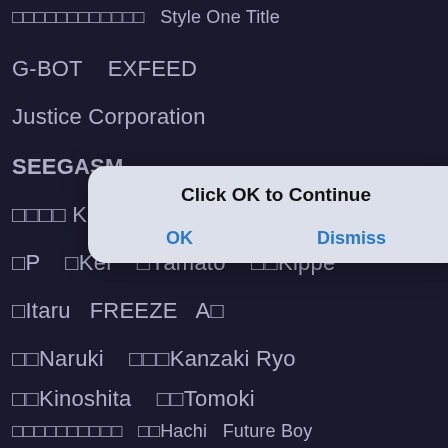□□□□□□□□□□□□  Style One Title
G-BOT    EXFEED
Justice Corporation
SEEGASM
□□□□ Kazehaya Ryoji    □□Soshi
□P    □Kei    □Yamato    □□Kippe
□Itaru    FREEZE    A□
□□Naruki    □□□Kanzaki Ryo
□□Kinoshita    □□Tomoki
□□□□□□□□□□    □□Hachi    Future Boy
CUTTING EDGE    □□□□□□□□□□
[Figure (screenshot): Mobile OS dialog overlay with title 'Click OK to Continue' and two buttons: OK and Dismiss]